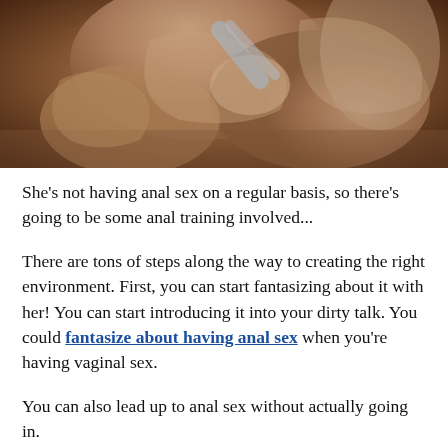[Figure (photo): A close-up intimate photo of two people on a bed, one person holding the other's leg/underwear, cropped to show torsos and legs only.]
She's not having anal sex on a regular basis, so there's going to be some anal training involved...
There are tons of steps along the way to creating the right environment. First, you can start fantasizing about it with her! You can start introducing it into your dirty talk. You could fantasize about having anal sex when you're having vaginal sex.
You can also lead up to anal sex without actually going in.
For example, you could ask her if it's okay for you to put a finger just on the outside of her anus. And then you graduate to a lubricated finger or small sex toy on the